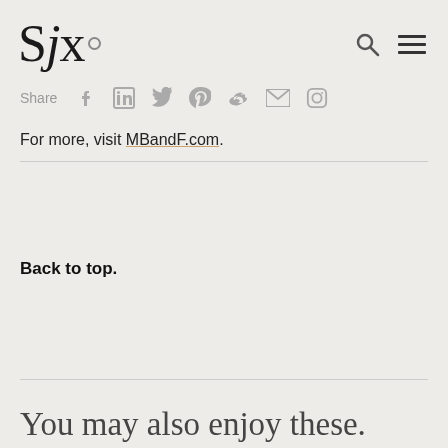SJx.
Share [social icons: facebook, linkedin, twitter, pinterest, weibo, email, instagram]
For more, visit MBandF.com.
Back to top.
You may also enjoy these.